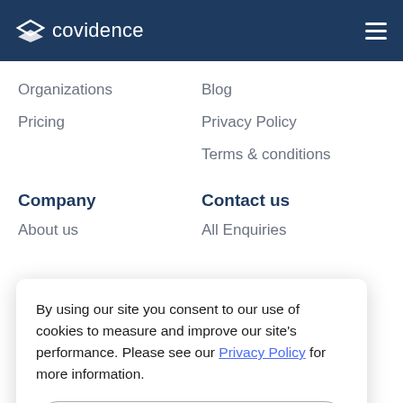covidence
Organizations
Blog
Pricing
Privacy Policy
Terms & conditions
Company
Contact us
About us
All Enquiries
By using our site you consent to our use of cookies to measure and improve our site's performance. Please see our Privacy Policy for more information.
Dismiss
Melbourne VIC 3000,